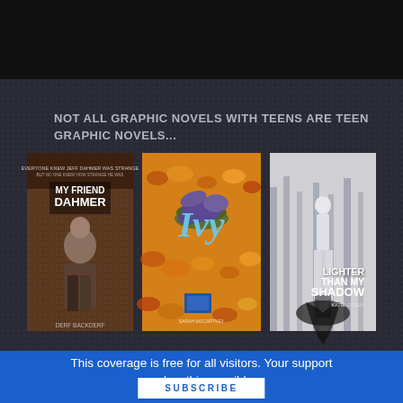[Figure (screenshot): Dark top bar from a website or presentation]
[Figure (illustration): Slide panel on dark background with text 'NOT ALL GRAPHIC NOVELS WITH TEENS ARE TEEN GRAPHIC NOVELS...' and three book covers: My Friend Dahmer, Ivy, and Lighter Than My Shadow]
This coverage is free for all visitors. Your support makes this possible.
SUBSCRIBE